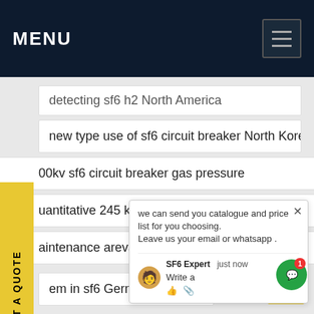MENU
detecting sf6 h2 North America
new type use of sf6 circuit breaker North Korea
00kv sf6 circuit breaker gas pressure
uantitative 245 kv sf6 circuit breaker
aintenance areva 132kv sf6 circu b
em in sf6 Germany
ghly professional 33kv sf6 circuit breaker Hong Kong
order sulfur hexafluoride for sale Norway
we can send you catalogue and price list for you choosing.
Leave us your email or whatsapp .
SF6 Expert   just now
Write a